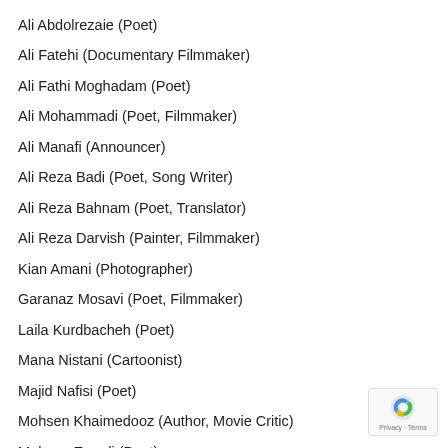Ali Abdolrezaie (Poet)
Ali Fatehi (Documentary Filmmaker)
Ali Fathi Moghadam (Poet)
Ali Mohammadi (Poet, Filmmaker)
Ali Manafi (Announcer)
Ali Reza Badi (Poet, Song Writer)
Ali Reza Bahnam (Poet, Translator)
Ali Reza Darvish (Painter, Filmmaker)
Kian Amani (Photographer)
Garanaz Mosavi (Poet, Filmmaker)
Laila Kurdbacheh (Poet)
Mana Nistani (Cartoonist)
Majid Nafisi (Poet)
Mohsen Khaimedooz (Author, Movie Critic)
Mohsen Emadi (Poet)
Mohsen Mahmoud Zadeh (Photographer)
Maryam Amaee (Poet, Photographer)